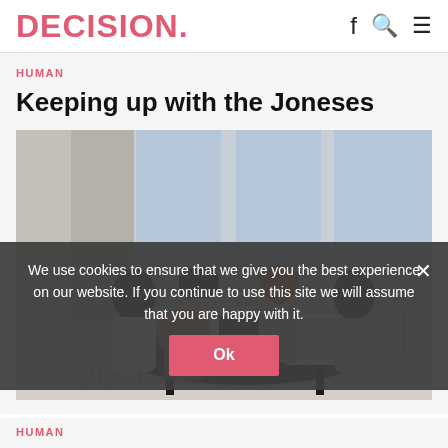DECISION. f Q ☰
HUMAN
Keeping up with the Joneses
[Figure (photo): Four people seated around a round table in a bright office, appearing to be in a meeting. One person has a laptop open. The group includes people of diverse backgrounds.]
We use cookies to ensure that we give you the best experience on our website. If you continue to use this site we will assume that you are happy with it.
Ok
HUMAN